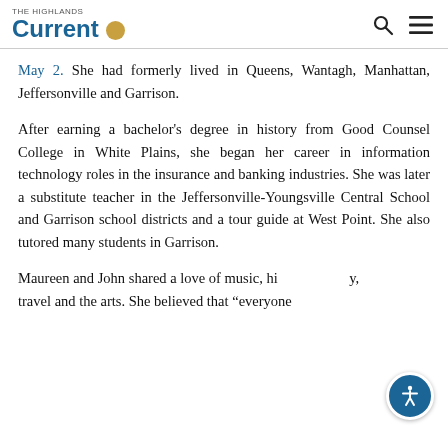The Highlands Current [logo]
May 2. She had formerly lived in Queens, Wantagh, Manhattan, Jeffersonville and Garrison.
After earning a bachelor's degree in history from Good Counsel College in White Plains, she began her career in information technology roles in the insurance and banking industries. She was later a substitute teacher in the Jeffersonville-Youngsville Central School and Garrison school districts and a tour guide at West Point. She also tutored many students in Garrison.
Maureen and John shared a love of music, history, travel and the arts. She believed that “everyone